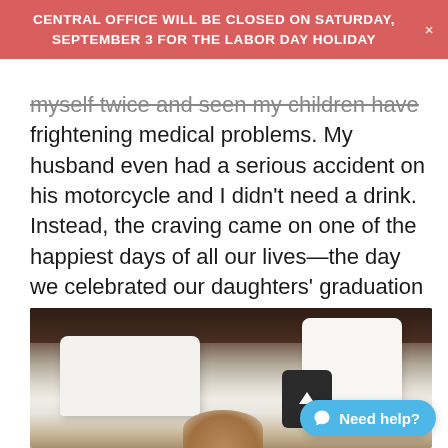CENTRAL OFFICE WILL BE CLOSED ON SATURDAY, SEPTEMBER 3 FOR THE LABOR DAY HOLIDAY
myself twice and seen my children have frightening medical problems. My husband even had a serious accident on his motorcycle and I didn't need a drink. Instead, the craving came on one of the happiest days of all our lives—the day we celebrated our daughters' graduation from college.
[Figure (photo): Photo of a dog peeking over pillows on a bed with a dark headboard; white pillows visible; a dark remote control device in the background.]